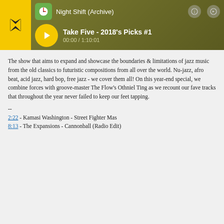[Figure (screenshot): Media player header with logo, Night Shift (Archive) label, play button, track title Take Five - 2018's Picks #1, and time 00:00 / 1:10:01]
The show that aims to expand and showcase the boundaries & limitations of jazz music from the old classics to futuristic compositions from all over the world. Nu-jazz, afro beat, acid jazz, hard bop, free jazz - we cover them all! On this year-end special, we combine forces with groove-master The Flow's Othniel Ting as we recount our fave tracks that throughout the year never failed to keep our feet tapping.
--
2:22 - Kamasi Washington - Street Fighter Mas
8:13 - The Expansions - Cannonball (Radio Edit)